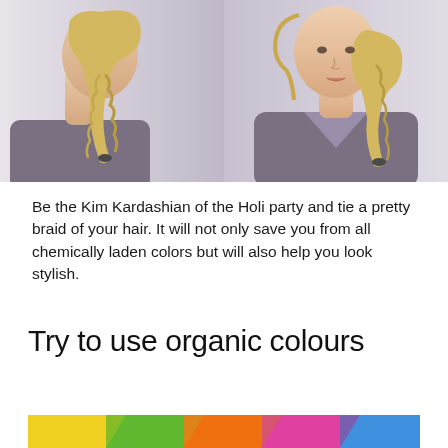[Figure (photo): Two side-by-side photos of a blonde woman with a braided hairstyle. Left photo shows a side/profile view; right photo shows a front-facing view. She is wearing a grey drape top.]
Be the Kim Kardashian of the Holi party and tie a pretty braid of your hair. It will not only save you from all chemically laden colors but will also help you look stylish.
Try to use organic colours
[Figure (photo): Colorful strip image showing bright organic colors — yellow, green, orange, pink, blue — cropped at the bottom of the page.]